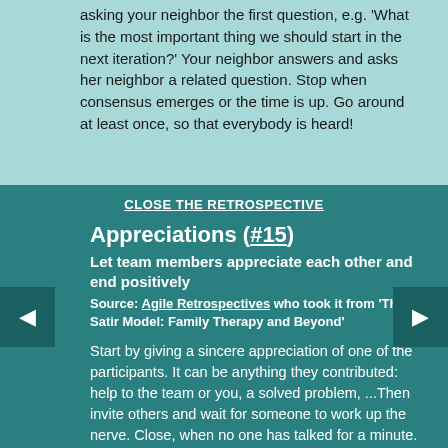asking your neighbor the first question, e.g. 'What is the most important thing we should start in the next iteration?' Your neighbor answers and asks her neighbor a related question. Stop when consensus emerges or the time is up. Go around at least once, so that everybody is heard!
CLOSE THE RETROSPECTIVE
Appreciations (#15)
Let team members appreciate each other and end positively
Source: Agile Retrospectives who took it from 'The Satir Model: Family Therapy and Beyond'
Start by giving a sincere appreciation of one of the participants. It can be anything they contributed: help to the team or you, a solved problem, ...Then invite others and wait for someone to work up the nerve. Close, when no one has talked for a minute.